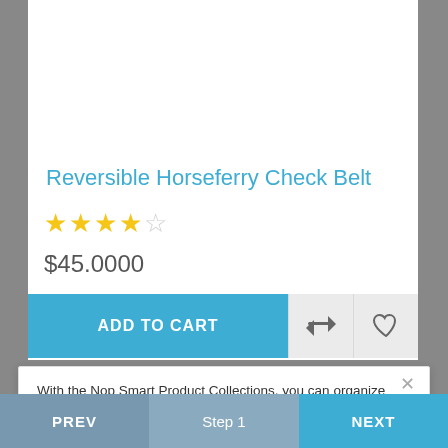Reversible Horseferry Check Belt
★★★★☆
$45.0000
ADD TO CART
With the Nop Smart Product Collections, you can organize your products into collections and display them on any of your website pages.
PREV  Step 1  NEXT